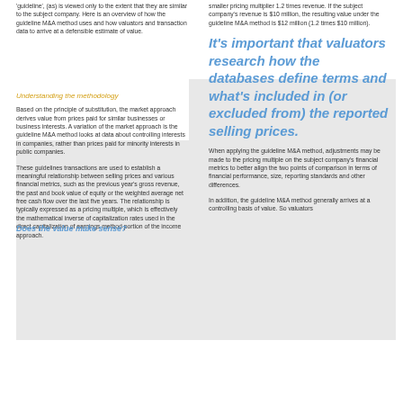'guideline', (as) is viewed only to the extent that they are similar to the subject company. Here is an overview of how the guideline M&A method uses and how valuators and transaction data to arrive at a defensible estimate of value.
smaller pricing multiplier 1.2 times revenue. If the subject company's revenue is $10 million, the resulting value under the guideline M&A method is $12 million (1.2 times $10 million).
Understanding the methodology
Based on the principle of substitution, the market approach derives value from prices paid for similar businesses or business interests. A variation of the market approach is the guideline M&A method looks at data about controlling interests in companies, rather than prices paid for minority interests in public companies.
It's important that valuators research how the databases define terms and what's included in (or excluded from) the reported selling prices.
These guidelines transactions are used to establish a meaningful relationship between selling prices and various financial metrics, such as the previous year's gross revenue, the past and book value of equity or the weighted average net free cash flow over the last five years. The relationship is typically expressed as a pricing multiple, which is effectively the mathematical inverse of capitalization rates used in the direct capitalization of earnings method portion of the income approach.
When applying the guideline M&A method, adjustments may be made to the pricing multiple on the subject company's financial metrics to better align the two points of comparison in terms of financial performance, size, reporting standards and other differences.
In addition, the guideline M&A method generally arrives at a controlling basis of value. So valuators
Does the value make sense?